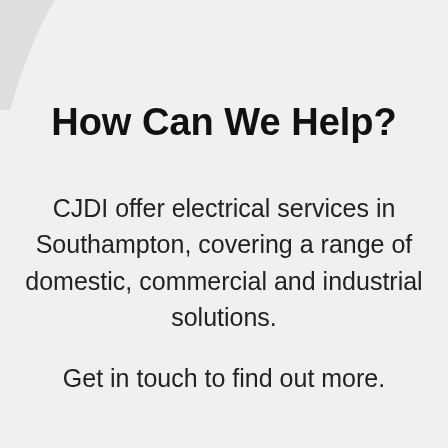How Can We Help?
CJDI offer electrical services in Southampton, covering a range of domestic, commercial and industrial solutions.
Get in touch to find out more.